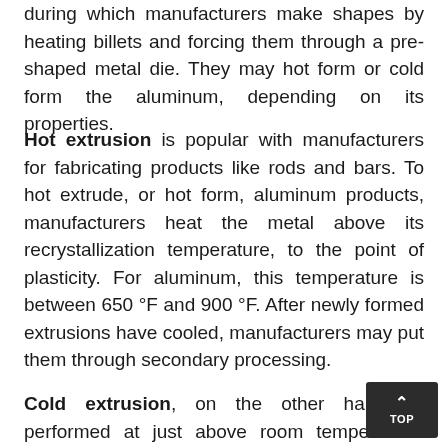during which manufacturers make shapes by heating billets and forcing them through a pre-shaped metal die. They may hot form or cold form the aluminum, depending on its properties.
Hot extrusion is popular with manufacturers for fabricating products like rods and bars. To hot extrude, or hot form, aluminum products, manufacturers heat the metal above its recrystallization temperature, to the point of plasticity. For aluminum, this temperature is between 650 °F and 900 °F. After newly formed extrusions have cooled, manufacturers may put them through secondary processing.
Cold extrusion, on the other hand, is performed at just above room temperature. Manufacturers use